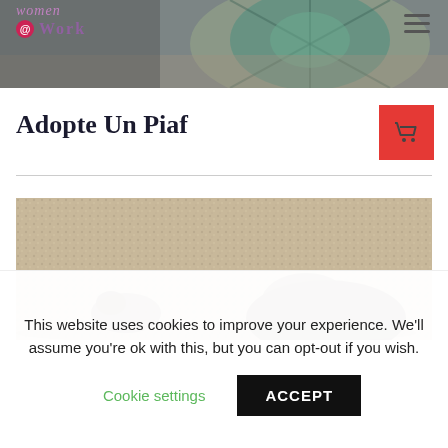Women@Work — website header with logo and navigation hamburger menu
[Figure (photo): Top banner showing a turtle/tortoise seen from above on a sandy/rocky surface, partially obscured by the logo overlay]
Adopte Un Piaf
[Figure (photo): Photo of animals (appear to be small rodents or similar creatures) on a carpet/textured surface]
This website uses cookies to improve your experience. We'll assume you're ok with this, but you can opt-out if you wish.
Cookie settings    ACCEPT